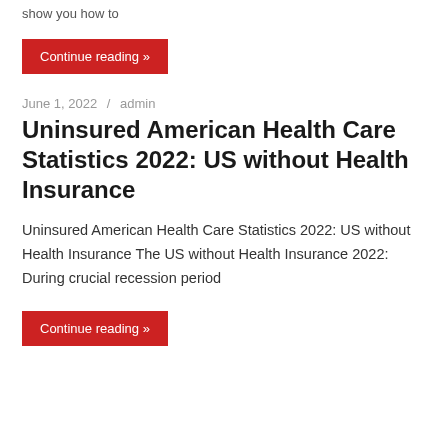show you how to
Continue reading »
June 1, 2022 / admin
Uninsured American Health Care Statistics 2022: US without Health Insurance
Uninsured American Health Care Statistics 2022: US without Health Insurance The US without Health Insurance 2022: During crucial recession period
Continue reading »